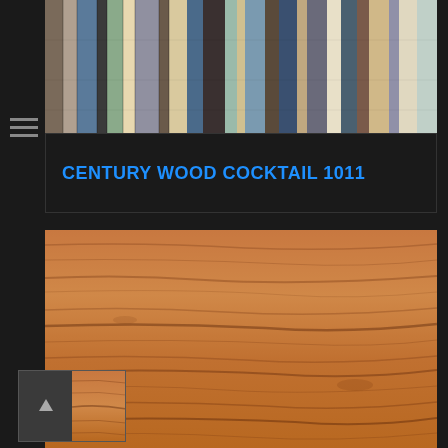[Figure (photo): Top panel showing colorful vertical wood planks in various colors including blue, gray, green, yellow, and natural wood tones arranged side by side]
CENTURY WOOD COCKTAIL 1011
[Figure (photo): Large close-up photo of cherry wood grain texture showing horizontal wood grain lines in warm orange-brown tones]
[Figure (photo): Thumbnail navigation widget showing a dark gray panel with up arrow and a small cherry wood texture thumbnail]